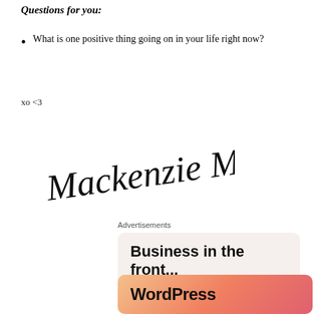Questions for you:
What is one positive thing going on in your life right now?
xo <3
[Figure (illustration): Handwritten cursive signature reading 'Mackenzie Marie']
Advertisements
Business in the front...
WordPress